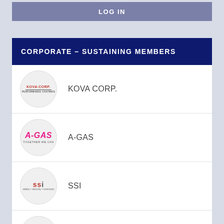LOG IN
CORPORATE – SUSTAINING MEMBERS
[Figure (logo): KOVA Corp. circular logo]
KOVA CORP.
[Figure (logo): A-GAS circular logo with pink text]
A-GAS
[Figure (logo): SSI circular logo]
SSI
[Figure (logo): PARATECH circular logo with black text on white background]
PARATECH